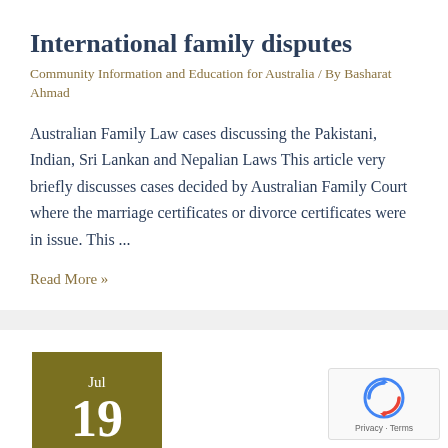International family disputes
Community Information and Education for Australia / By Basharat Ahmad
Australian Family Law cases discussing the Pakistani, Indian, Sri Lankan and Nepalian Laws This article very briefly discusses cases decided by Australian Family Court where the marriage certificates or divorce certificates were in issue. This ...
Read More »
Jul 19 2021
[Figure (logo): reCAPTCHA logo with Privacy and Terms text]